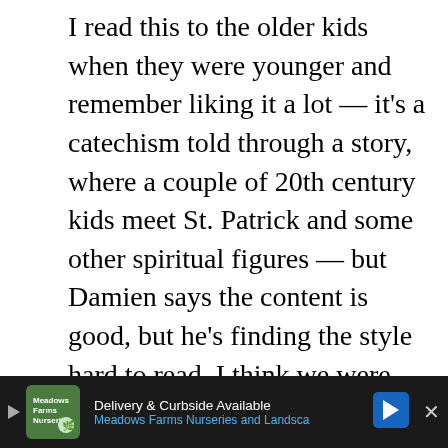I read this to the older kids when they were younger and remember liking it a lot — it's a catechism told through a story, where a couple of 20th century kids meet St. Patrick and some other spiritual figures — but Damien says the content is good, but he's finding the style hard to read. I think we were homeschooling when we read it, and probably just had a wider tolerance for weird books. Anyway, I recommend it for people who are looking for a solid catechism but maybe don't want to go the Baltimore Catechism route for whatever reason. It has really good stuff about doctrine, like the trinity, etc., that many adults probably
[Figure (screenshot): Advertisement banner at bottom: dark background with Meadows Farms Nurseries and Landscape ad showing 'Delivery & Curbside Available' with logo, blue arrow icon, and close button]